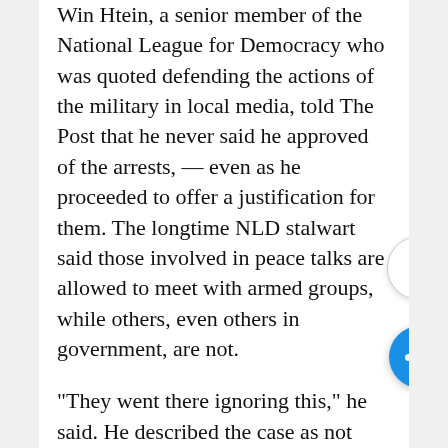Win Htein, a senior member of the National League for Democracy who was quoted defending the actions of the military in local media, told The Post that he never said he approved of the arrests, — even as he proceeded to offer a justification for them. The longtime NLD stalwart said those involved in peace talks are allowed to meet with armed groups, while others, even others in government, are not.
“They went there ignoring this,” he said. He described the case as not serious and said the journalists will “come sooner or later,” measuring the long years that party activists spent in prison under military rule against the ord the three reporters so far. “A few days is